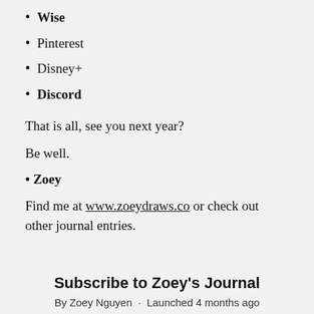Wise
Pinterest
Disney+
Discord
That is all, see you next year?
Be well.
• Zoey
Find me at www.zoeydraws.co or check out other journal entries.
Subscribe to Zoey's Journal
By Zoey Nguyen · Launched 4 months ago